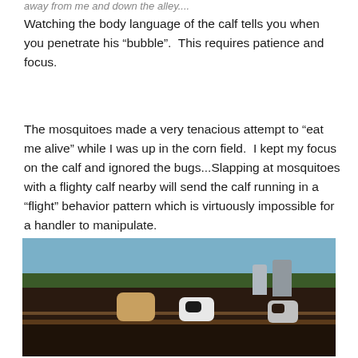away from me and down the alley....
Watching the body language of the calf tells you when you penetrate his “bubble”.  This requires patience and focus.
The mosquitoes made a very tenacious attempt to “eat me alive” while I was up in the corn field.  I kept my focus on the calf and ignored the bugs...Slapping at mosquitoes with a flighty calf nearby will send the calf running in a “flight” behavior pattern which is virtuously impossible for a handler to manipulate.
[Figure (photo): Cattle in a pen or feedlot with grain silos and farm buildings visible in the background against a blue sky. Multiple cattle including brown and black-and-white colored animals are visible behind fencing.]